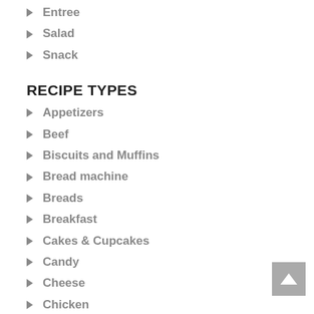Entree
Salad
Snack
RECIPE TYPES
Appetizers
Beef
Biscuits and Muffins
Bread machine
Breads
Breakfast
Cakes & Cupcakes
Candy
Cheese
Chicken